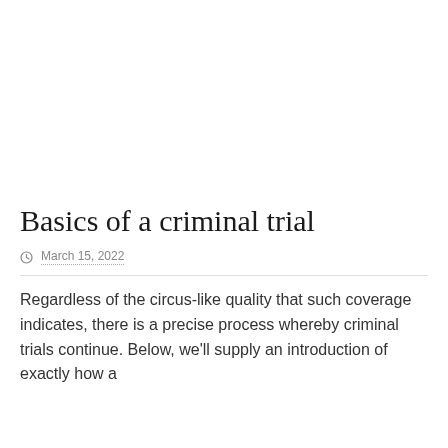[Figure (photo): A horse and rider jumping over a hedge in a cross-country or equestrian event, set in a green field with trees in the background. The horse is black and white, the rider wears formal equestrian attire.]
Basics of a criminal trial
March 15, 2022
Regardless of the circus-like quality that such coverage indicates, there is a precise process whereby criminal trials continue. Below, we'll supply an introduction of exactly how a